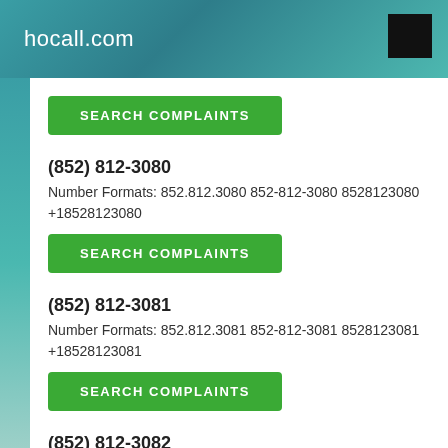hocall.com
SEARCH COMPLAINTS
(852) 812-3080
Number Formats: 852.812.3080 852-812-3080 8528123080 +18528123080
SEARCH COMPLAINTS
(852) 812-3081
Number Formats: 852.812.3081 852-812-3081 8528123081 +18528123081
SEARCH COMPLAINTS
(852) 812-3082
Number Formats: 852.812.3082 852-812-3082 8528123082 +18528123082